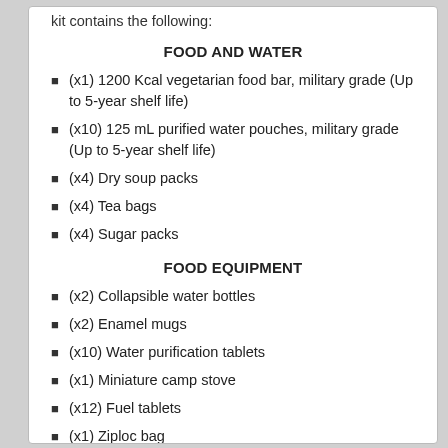kit contains the following:
FOOD AND WATER
(x1) 1200 Kcal vegetarian food bar, military grade (Up to 5-year shelf life)
(x10) 125 mL purified water pouches, military grade (Up to 5-year shelf life)
(x4) Dry soup packs
(x4) Tea bags
(x4) Sugar packs
FOOD EQUIPMENT
(x2) Collapsible water bottles
(x2) Enamel mugs
(x10) Water purification tablets
(x1) Miniature camp stove
(x12) Fuel tablets
(x1) Ziploc bag